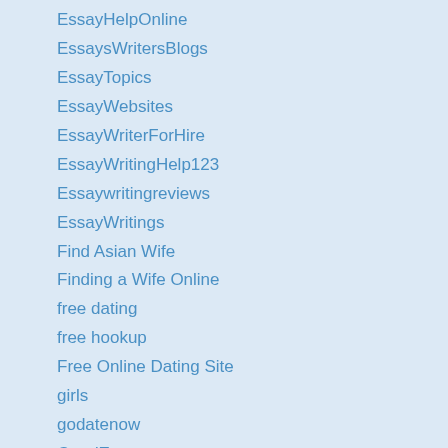EssayHelpOnline
EssaysWritersBlogs
EssayTopics
EssayWebsites
EssayWriterForHire
EssayWritingHelp123
Essaywritingreviews
EssayWritings
Find Asian Wife
Finding a Wife Online
free dating
free hookup
Free Online Dating Site
girls
godatenow
GoodEssay
GPACALCULATOR 5
Hello World